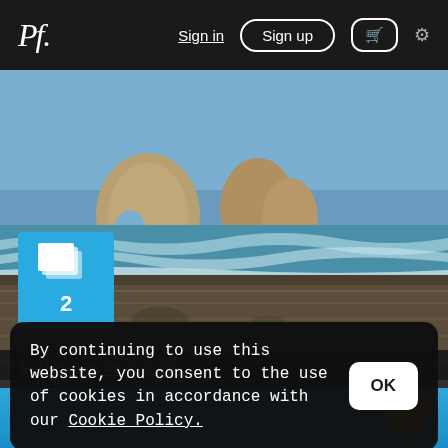Pf. Sign in  Sign up  🛒  ⚙
[Figure (photo): Coastal beach scene with large rock formations and sea stacks rising from the ocean, waves breaking on wet sandy beach, blue sky]
2
by Red Rock Photography
By continuing to use this website, you consent to the use of cookies in accordance with our Cookie Policy.
OK